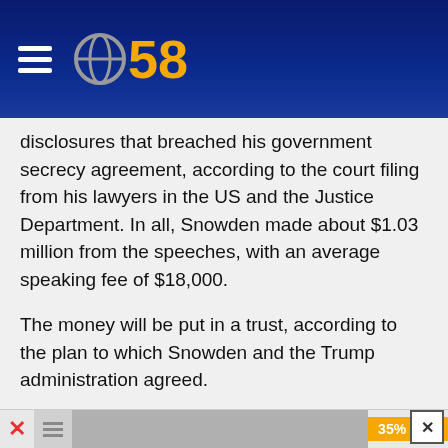CBS 58 logo and navigation header
disclosures that breached his government secrecy agreement, according to the court filing from his lawyers in the US and the Justice Department. In all, Snowden made about $1.03 million from the speeches, with an average speaking fee of $18,000.
The money will be put in a trust, according to the plan to which Snowden and the Trump administration agreed.
An attorney for Snowden said the agreement filed in court on Tuesday doesn't mean the US government will be able to immediately collect the money, because Snowden is considering appealing the judge's previous decision that he was liable for the